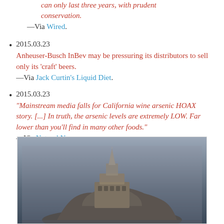can only last three years, with prudent conservation.
—Via Wired.
2015.03.23
Anheuser-Busch InBev may be pressuring its distributors to sell only its 'craft' beers.
—Via Jack Curtin's Liquid Diet.
2015.03.23
"Mainstream media falls for California wine arsenic HOAX story. [...] In truth, the arsenic levels are extremely LOW. Far lower than you'll find in many other foods."
—Via Natural News.
[Figure (photo): Photo of Mont Saint-Michel, a medieval abbey on a rocky island, photographed at dusk or foggy conditions with a grey-purple sky. The illuminated structure rises dramatically above the rocky base.]